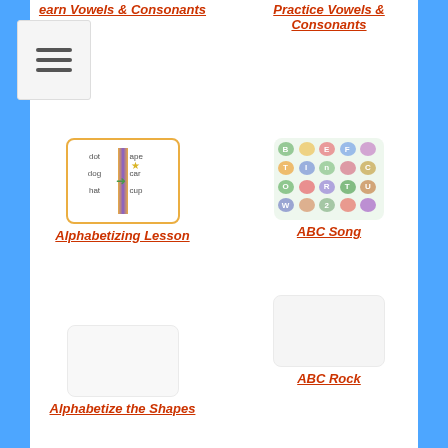[Figure (screenshot): Menu/hamburger icon overlay]
Learn Vowels & Consonants
Practice Vowels & Consonants
[Figure (screenshot): Alphabetizing lesson thumbnail showing words dot, dog, hat on left and ape, car, cup on right with arrow]
Alphabetizing Lesson
[Figure (screenshot): ABC Song thumbnail with colorful alphabet letters on balloons]
ABC Song
[Figure (screenshot): ABC Rock thumbnail]
ABC Rock
[Figure (screenshot): Alphabetize the Shapes thumbnail]
Alphabetize the Shapes